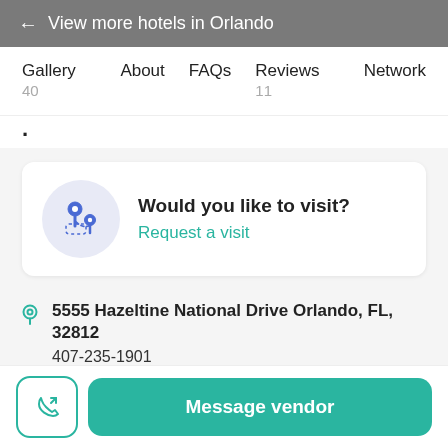← View more hotels in Orlando
Gallery 40   About   FAQs   Reviews 11   Network
·
Would you like to visit?
Request a visit
5555 Hazeltine National Drive Orlando, FL, 32812
407-235-1901
407-856-0100
Message vendor